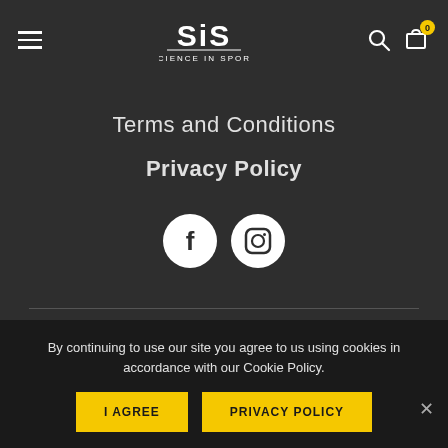[Figure (logo): SiS Science in Sport logo - white text on dark background]
Terms and Conditions
Privacy Policy
[Figure (illustration): Social media icons: Facebook and Instagram circles]
© Copyright 2019 | All Rights Reserved | SFC Holding OÜ | | Reg 12785354 |
By continuing to use our site you agree to us using cookies in accordance with our Cookie Policy.
I AGREE
PRIVACY POLICY